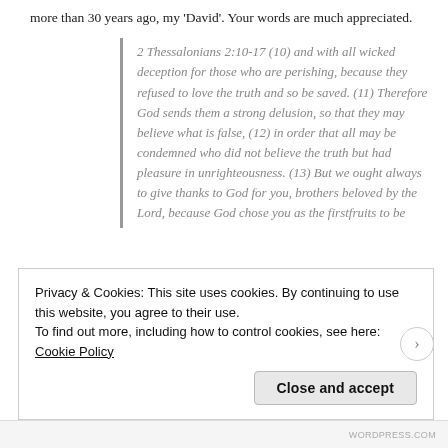more than 30 years ago, my 'David'. Your words are much appreciated.
2 Thessalonians 2:10-17 (10) and with all wicked deception for those who are perishing, because they refused to love the truth and so be saved. (11) Therefore God sends them a strong delusion, so that they may believe what is false, (12) in order that all may be condemned who did not believe the truth but had pleasure in unrighteousness. (13) But we ought always to give thanks to God for you, brothers beloved by the Lord, because God chose you as the firstfruits to be
Privacy & Cookies: This site uses cookies. By continuing to use this website, you agree to their use.
To find out more, including how to control cookies, see here: Cookie Policy
Close and accept